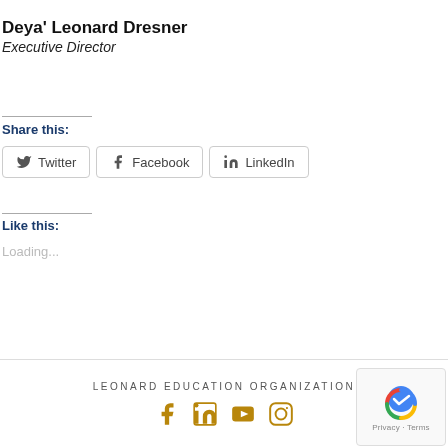Deya' Leonard Dresner
Executive Director
Share this:
Twitter  Facebook  LinkedIn
Like this:
Loading...
LEONARD EDUCATION ORGANIZATION